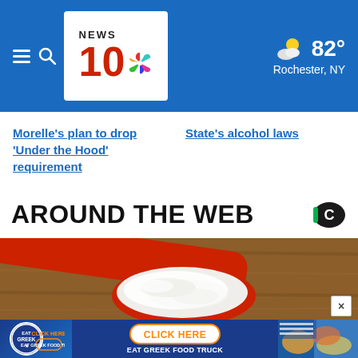NEWS 10 NBC — Rochester, NY — 82°
Morelle's plan to drop 'Under the Hood' requirement
State's alcohol laws
AROUND THE WEB
[Figure (photo): Close-up photograph of a red measuring spoon filled with white powder on a wooden surface]
[Figure (other): Advertisement banner: Eat Greek Food Truck — Click Here]